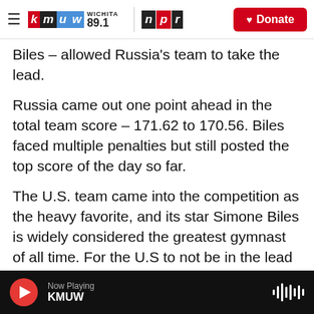KMUW Wichita 89.1 | NPR | Donate
Biles – allowed Russia's team to take the lead.
Russia came out one point ahead in the total team score – 171.62 to 170.56. Biles faced multiple penalties but still posted the top score of the day so far.
The U.S. team came into the competition as the heavy favorite, and its star Simone Biles is widely considered the greatest gymnast of all time. For the U.S to not be in the lead at the end of the qualifier is very unexpected.
"I feel we did a pretty good job. Obviously there are
Now Playing KMUW